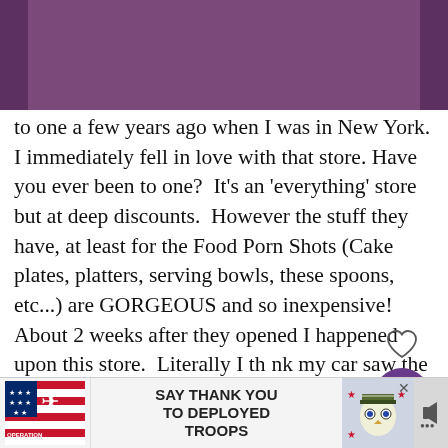to one a few years ago when I was in New York. I immediately fell in love with that store. Have you ever been to one?  It's an 'everything' store but at deep discounts.  However the stuff they have, at least for the Food Porn Shots (Cake plates, platters, serving bowls, these spoons, etc...) are GORGEOUS and so inexpensive! About 2 weeks after they opened I happened upon this store.  Literally I think my car saw the store before I did as it immediately started to drive towards it.  When I saw it, folks I wish you could have seen the biggest smile I had on my face!
[Figure (screenshot): Social media UI overlay showing heart/like icon, 1.5K share count bubble, and What's Next panel for Day 20 - Countdown...]
[Figure (photo): Partially visible photo at bottom of page]
[Figure (infographic): Operation Gratitude advertisement: SAY THANK YOU TO DEPLOYED TROOPS with cartoon soldier mascot and logo]